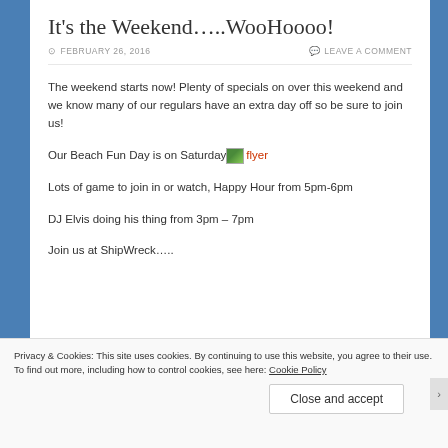It's the Weekend…..WooHoooo!
FEBRUARY 26, 2016   LEAVE A COMMENT
The weekend starts now! Plenty of specials on over this weekend and we know many of our regulars have an extra day off so be sure to join us!
Our Beach Fun Day is on Saturday [flyer]
Lots of game to join in or watch, Happy Hour from 5pm-6pm
DJ Elvis doing his thing from 3pm – 7pm
Join us at ShipWreck…..
Privacy & Cookies: This site uses cookies. By continuing to use this website, you agree to their use.
To find out more, including how to control cookies, see here: Cookie Policy
Close and accept